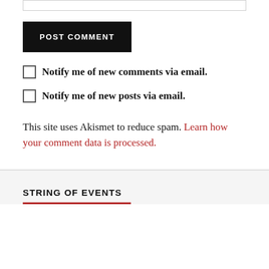[input box]
POST COMMENT
Notify me of new comments via email.
Notify me of new posts via email.
This site uses Akismet to reduce spam. Learn how your comment data is processed.
STRING OF EVENTS